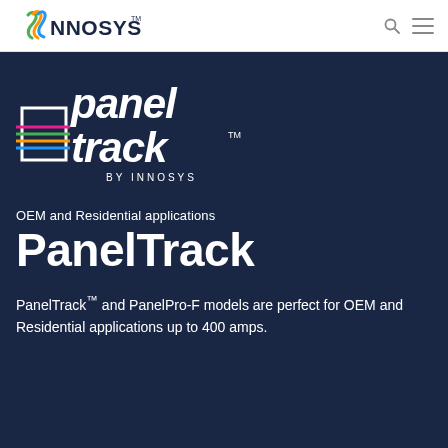[Figure (logo): INNOSYS logo in the header navigation bar with colorful wave/ribbon 'I' letterform and dark blue NNOSYS text, plus TM mark]
[Figure (logo): PanelTrack by Innosys logo on dark navy background - white italic 'panel track' text with a square icon overlaid by colorful horizontal lines (green, orange/yellow, blue, pink) and 'BY INNOSYS' text below]
OEM and Residential applications
PanelTrack
PanelTrack™ and PanelPro-F models are perfect for OEM and Residential applications up to 400 amps.